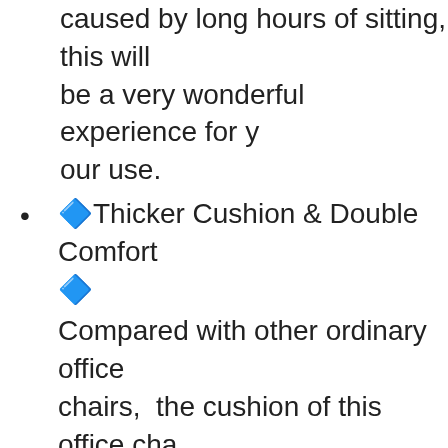caused by long hours of sitting, this will be a very wonderful experience for your use.
🔷Thicker Cushion & Double Comfort🔷 Compared with other ordinary office chairs, the cushion of this office chair uses high-density elastic sponge, which is softer, thicker and more comfortable, and covered by breathable mesh cloth. The innermost layer is made of solid wood. The three